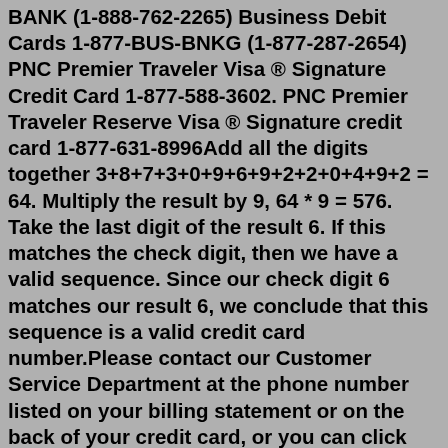BANK (1-888-762-2265) Business Debit Cards 1-877-BUS-BNKG (1-877-287-2654) PNC Premier Traveler Visa ® Signature Credit Card 1-877-588-3602. PNC Premier Traveler Reserve Visa ® Signature credit card 1-877-631-8996Add all the digits together 3+8+7+3+0+9+6+9+2+2+0+4+9+2 = 64. Multiply the result by 9, 64 * 9 = 576. Take the last digit of the result 6. If this matches the check digit, then we have a valid sequence. Since our check digit 6 matches our result 6, we conclude that this sequence is a valid credit card number.Please contact our Customer Service Department at the phone number listed on your billing statement or on the back of your credit card, or you can click Contact Us. How do I report suspected fraud? Please contact our Customer Service Department by calling 1-800-859-6412.A simple email or phone call should be enough to stop an unwanted auto-renewal charge; however, a common consumer complaint is that auto-renewals are hard to cancel. If a company makes it impossible to cancel the auto-renewal, the FTC provides instructions for disputing